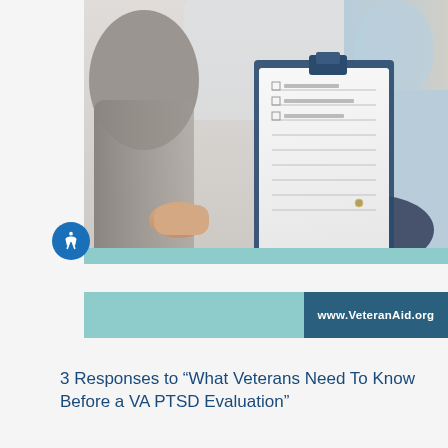[Figure (photo): A person holding a clipboard with a form/checklist, photographed in a clinical or office setting. Two people are partially visible — one in a grey jacket and one in a light blue shirt.]
www.VeteranAid.org
3 Responses to “What Veterans Need To Know Before a VA PTSD Evaluation”